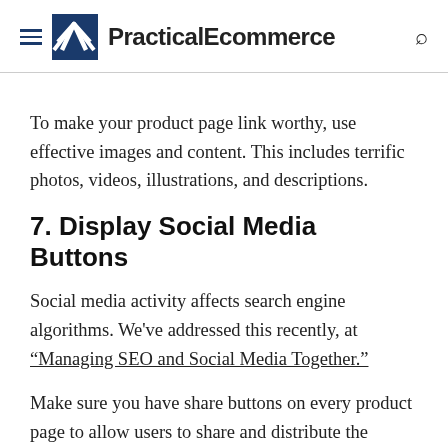PracticalEcommerce
To make your product page link worthy, use effective images and content. This includes terrific photos, videos, illustrations, and descriptions.
7. Display Social Media Buttons
Social media activity affects search engine algorithms. We've addressed this recently, at “Managing SEO and Social Media Together.”
Make sure you have share buttons on every product page to allow users to share and distribute the product. Pinterest, for example, allows users to post a picture while linking back